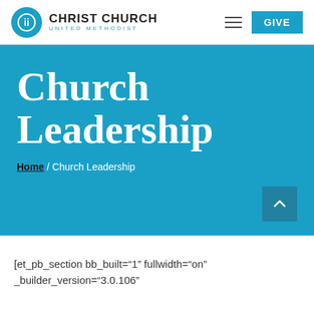CHRIST CHURCH UNITED METHODIST | GIVE
Church Leadership
Home / Church Leadership
[et_pb_section bb_built="1" fullwidth="on" _builder_version="3.0.106"